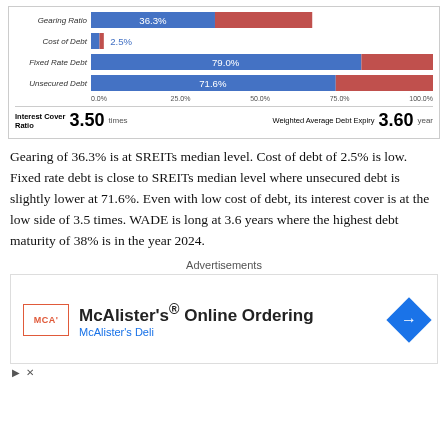[Figure (grouped-bar-chart): Debt Metrics Chart]
Gearing of 36.3% is at SREITs median level. Cost of debt of 2.5% is low. Fixed rate debt is close to SREITs median level where unsecured debt is slightly lower at 71.6%. Even with low cost of debt, its interest cover is at the low side of 3.5 times. WADE is long at 3.6 years where the highest debt maturity of 38% is in the year 2024.
Advertisements
[Figure (other): Advertisement for McAlister's Online Ordering / McAlister's Deli with logo, arrow icon, play and close buttons]